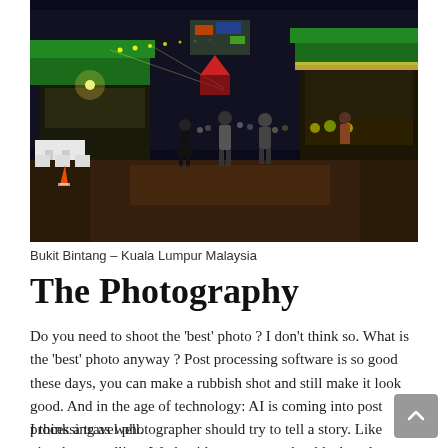[Figure (photo): Night street market scene at Bukit Bintang, Kuala Lumpur, Malaysia. Busy pedestrian street lined with food stalls, illuminated signs, and crowds of people walking.]
Bukit Bintang – Kuala Lumpur Malaysia
The Photography
Do you need to shoot the 'best' photo ? I don't think so. What is the 'best' photo anyway ? Post processing software is so good these days, you can make a rubbish shot and still make it look good. And in the age of technology: AI is coming into post processing as well.
I think a travel photographer should try to tell a story. Like visual story telling. Work with contrasts, color, black and white,